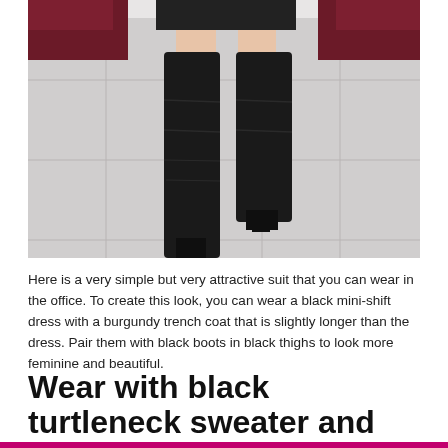[Figure (photo): Photo of a person wearing black over-the-knee boots, a black mini skirt, and a burgundy trench coat, standing on a tiled outdoor surface. Only the lower body is visible.]
Here is a very simple but very attractive suit that you can wear in the office. To create this look, you can wear a black mini-shift dress with a burgundy trench coat that is slightly longer than the dress. Pair them with black boots in black thighs to look more feminine and beautiful.
Wear with black turtleneck sweater and silver high waist mini skirt